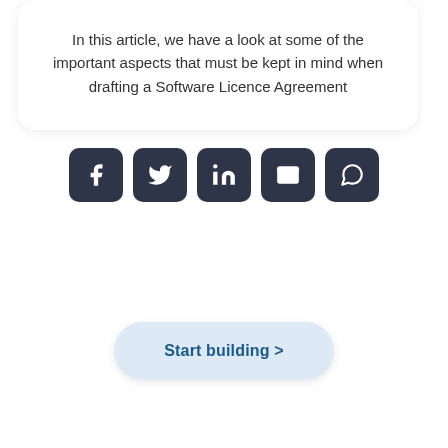In this article, we have a look at some of the important aspects that must be kept in mind when drafting a Software Licence Agreement
[Figure (infographic): Row of five dark square social share buttons with rounded corners: Facebook, Twitter, LinkedIn, Email, WhatsApp icons in white]
Start building >